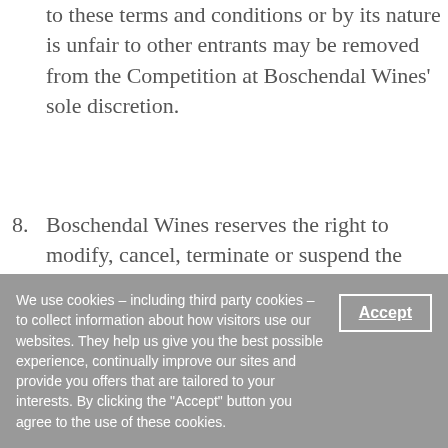to these terms and conditions or by its nature is unfair to other entrants may be removed from the Competition at Boschendal Wines' sole discretion.
8. Boschendal Wines reserves the right to modify, cancel, terminate or suspend the Competition in whole or in part, at its sole discretion, if it believes the Competition is not capable of being conducted as specified in these terms and conditions or in the event of a virus, computer bug or unauthorised human
We use cookies – including third party cookies – to collect information about how visitors use our websites. They help us give you the best possible experience, continually improve our sites and provide you offers that are tailored to your interests. By clicking the "Accept" button you agree to the use of these cookies.